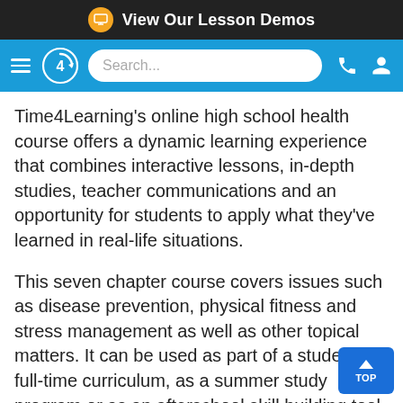View Our Lesson Demos
[Figure (screenshot): Navigation bar with hamburger menu, Time4Learning logo, search bar, phone and account icons on blue background]
Time4Learning's online high school health course offers a dynamic learning experience that combines interactive lessons, in-depth studies, teacher communications and an opportunity for students to apply what they've learned in real-life situations.
This seven chapter course covers issues such as disease prevention, physical fitness and stress management as well as other topical matters. It can be used as part of a student's full-time curriculum, as a summer study program or as an afterschool skill building tool.
Additional benefits that students and parents enjo while using Time4Learning, include: